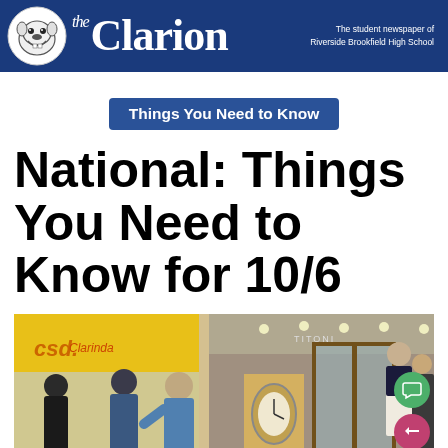the Clarion — The student newspaper of Riverside Brookfield High School
Things You Need to Know
National: Things You Need to Know for 10/6
[Figure (photo): Street scene with people walking in front of storefronts, including a yellow sign and a watch store with glass doors on the right side.]